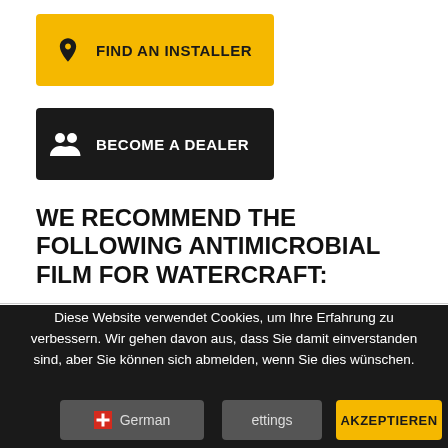FIND AN INSTALLER
BECOME A DEALER
WE RECOMMEND THE FOLLOWING ANTIMICROBIAL FILM FOR WATERCRAFT:
Diese Website verwendet Cookies, um Ihre Erfahrung zu verbessern. Wir gehen davon aus, dass Sie damit einverstanden sind, aber Sie können sich abmelden, wenn Sie dies wünschen.
German
ettings
AKZEPTIEREN